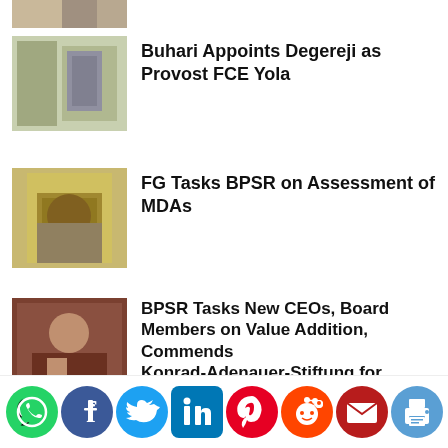[Figure (photo): Partial photo at top of page, cropped]
[Figure (photo): Two officials, one handing document to another]
Buhari Appoints Degereji as Provost FCE Yola
[Figure (photo): Man wearing traditional cap, close-up portrait]
FG Tasks BPSR on Assessment of MDAs
[Figure (photo): Man seated, speaking, wearing traditional attire]
BPSR Tasks New CEOs, Board Members on Value Addition, Commends Konrad-Adenauer-Stiftung for Supporting Nigeria's Development
[Figure (photo): People in military/formal attire outdoors]
NYSC DG to Plateau Corpers: Shun
[Figure (infographic): Social share icons: WhatsApp, Facebook, Twitter, LinkedIn, Pinterest, Reddit, Email, Print]